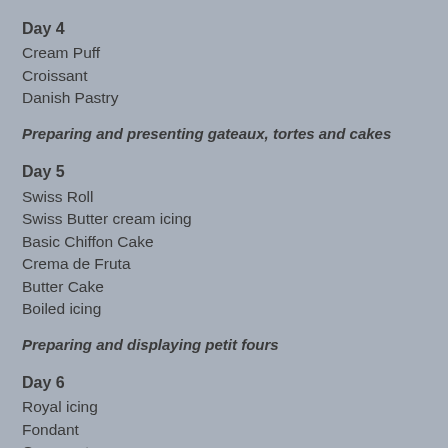Day 4
Cream Puff
Croissant
Danish Pastry
Preparing and presenting gateaux, tortes and cakes
Day 5
Swiss Roll
Swiss Butter cream icing
Basic Chiffon Cake
Crema de Fruta
Butter Cake
Boiled icing
Preparing and displaying petit fours
Day 6
Royal icing
Fondant
Gum paste
Chocolate Mousse